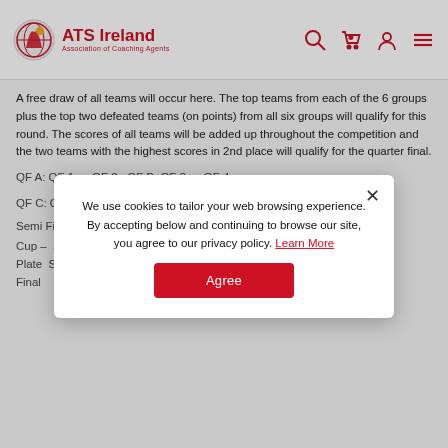ATS Ireland
A free draw of all teams will occur here. The top teams from each of the 6 groups plus the top two defeated teams (on points) from all six groups will qualify for this round. The scores of all teams will be added up throughout the competition and the two teams with the highest scores in 2nd place will qualify for the quarter final.
QF A: QF 1 vs QF 2 QF B: QF 3 vs QF 4
QF C: QF 5 vs QF 6 QF D: QF 7 vs QF 8
Semi Final – Cup & Plate – Night 5
Cup – SF1: Winner QF A vs Winner QF B SF2: Winner
Plate SF1: Runner... F2: Runner
Final
We use cookies to tailor your web browsing experience. By accepting below and continuing to browse our site, you agree to our privacy policy. Learn More